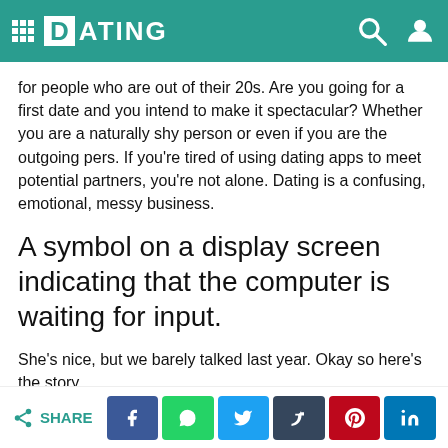DATING
for people who are out of their 20s. Are you going for a first date and you intend to make it spectacular? Whether you are a naturally shy person or even if you are the outgoing pers. If you're tired of using dating apps to meet potential partners, you're not alone. Dating is a confusing, emotional, messy business.
A symbol on a display screen indicating that the computer is waiting for input.
She's nice, but we barely talked last year. Okay so here's the story.
Are you going for a first date and you intend to make it spectacular? She dated this one guy who can be a jerk sometimes but. Many people are feeling fatigued at the
SHARE